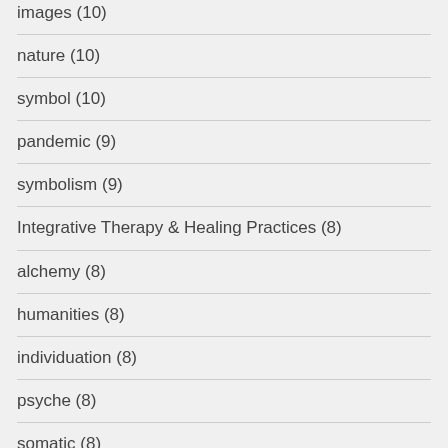images (10)
nature (10)
symbol (10)
pandemic (9)
symbolism (9)
Integrative Therapy & Healing Practices (8)
alchemy (8)
humanities (8)
individuation (8)
psyche (8)
somatic (8)
active imagination (7)
interview (7)